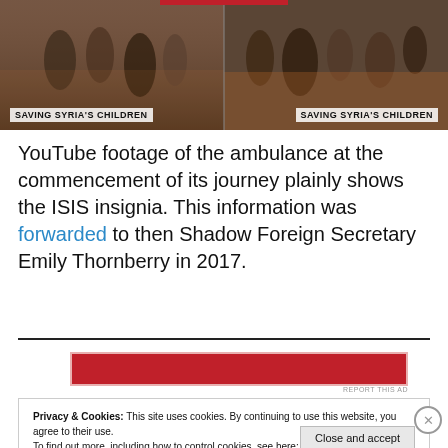[Figure (photo): Two side-by-side video stills from 'Saving Syria's Children' showing crowd scenes. Each still has a white label overlay reading 'SAVING SYRIA'S CHILDREN'.]
YouTube footage of the ambulance at the commencement of its journey plainly shows the ISIS insignia. This information was forwarded to then Shadow Foreign Secretary Emily Thornberry in 2017.
Privacy & Cookies: This site uses cookies. By continuing to use this website, you agree to their use.
To find out more, including how to control cookies, see here: Cookie Policy